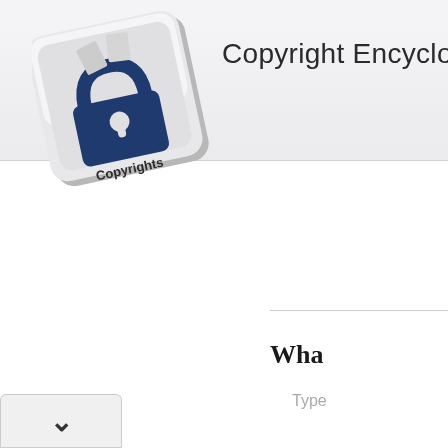Copyright Encyclopedia
[Figure (logo): Copyright keyboard key logo — a computer keyboard key with a padlock/copyright icon labeled 'Copyrights', tilted slightly, in white/grey with dark blue lock icon]
Wha...
Type...
Va...
Copyright ...